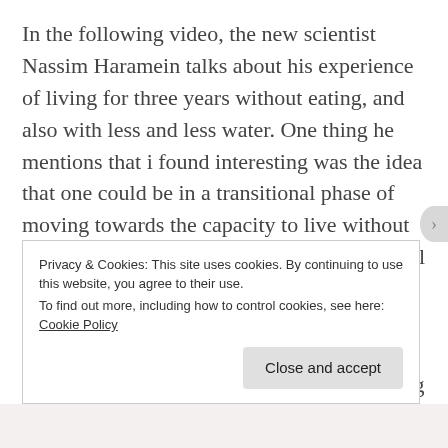In the following video, the new scientist Nassim Haramein talks about his experience of living for three years without eating, and also with less and less water. One thing he mentions that i found interesting was the idea that one could be in a transitional phase of moving towards the capacity to live without food, and could be receiving some, but not all of their nutrients and energy directly from Source, and the rest from eating food. It does not have to be “all or nothing”. For example, the practice of intermittent fasting, like eating only one meal a day. Then we could transition, being almost
Privacy & Cookies: This site uses cookies. By continuing to use this website, you agree to their use.
To find out more, including how to control cookies, see here: Cookie Policy
Close and accept